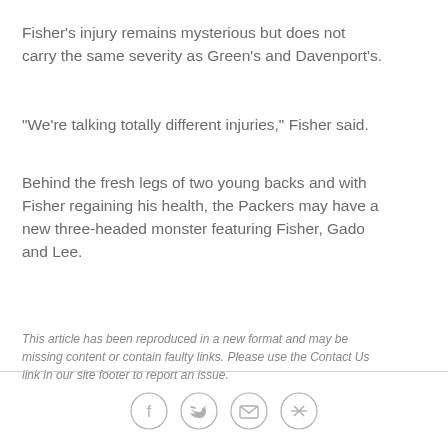Fisher's injury remains mysterious but does not carry the same severity as Green's and Davenport's.
"We're talking totally different injuries," Fisher said.
Behind the fresh legs of two young backs and with Fisher regaining his health, the Packers may have a new three-headed monster featuring Fisher, Gado and Lee.
This article has been reproduced in a new format and may be missing content or contain faulty links. Please use the Contact Us link in our site footer to report an issue.
[Figure (other): Social media sharing icons: Facebook, Twitter, Email, Link]